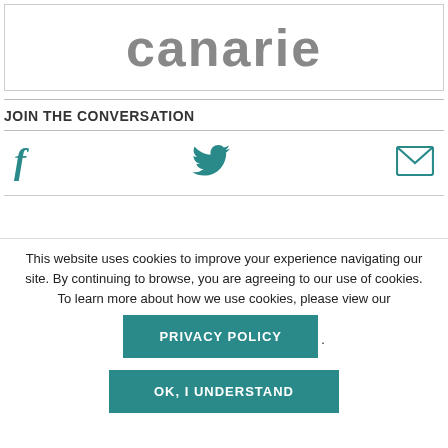[Figure (logo): CANARIE logo in gray bold sans-serif text]
JOIN THE CONVERSATION
[Figure (infographic): Three social media icons: Facebook (f), Twitter (bird), and email (envelope) in teal color]
This website uses cookies to improve your experience navigating our site. By continuing to browse, you are agreeing to our use of cookies. To learn more about how we use cookies, please view our PRIVACY POLICY.
OK, I UNDERSTAND